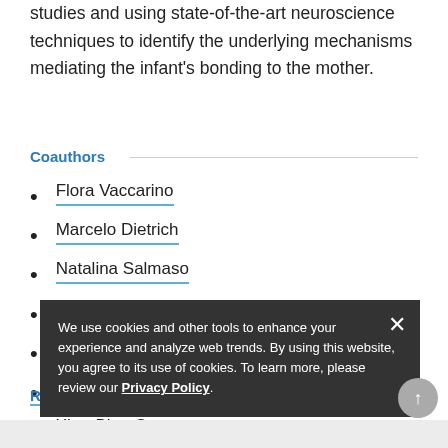studies and using state-of-the-art neuroscience techniques to identify the underlying mechanisms mediating the infant's bonding to the mother.
Coauthors
Flora Vaccarino
Marcelo Dietrich
Natalina Salmaso
Onur Iyilikci
Sabrina Diano
Tamas Horvath
Xiao-Bing Gao
Zhongwu Liu
Research Image
We use cookies and other tools to enhance your experience and analyze web trends. By using this website, you agree to its use of cookies. To learn more, please review our Privacy Policy.